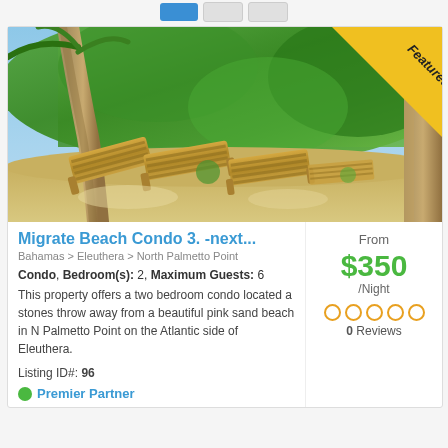[Figure (photo): Outdoor beach scene with wooden lounge chairs on sandy beach, palm trees, and lush green tropical foliage. A 'Featured' banner in yellow is displayed in the top-right corner of the image.]
Migrate Beach Condo 3. -next...
Bahamas > Eleuthera > North Palmetto Point
Condo, Bedroom(s): 2, Maximum Guests: 6
This property offers a two bedroom condo located a stones throw away from a beautiful pink sand beach in N Palmetto Point on the Atlantic side of Eleuthera.
Listing ID#: 96
From $350 /Night
0 Reviews
Premier Partner